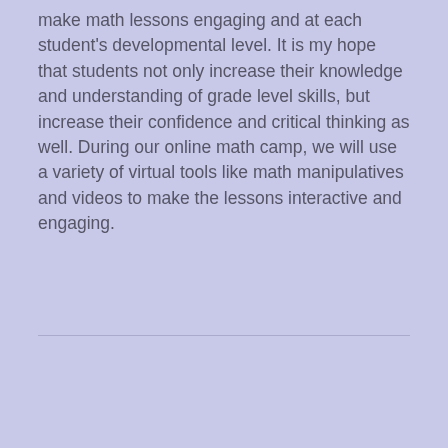make math lessons engaging and at each student's developmental level. It is my hope that students not only increase their knowledge and understanding of grade level skills, but increase their confidence and critical thinking as well. During our online math camp, we will use a variety of virtual tools like math manipulatives and videos to make the lessons interactive and engaging.